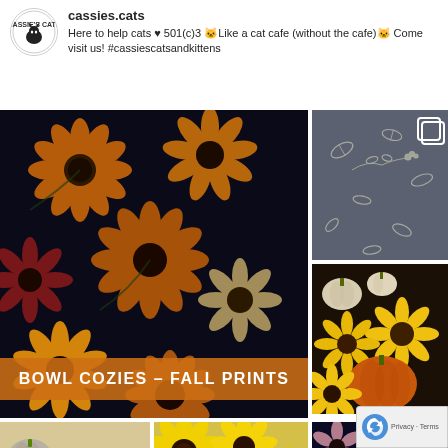[Figure (logo): Cassie's Cats circular logo with cat silhouette]
cassies.cats
Here to help cats ♥ 501(c)3 🐱Like a cat cafe (without the cafe)🐱 Come visit us! #cassiescatsandkittens
[Figure (photo): Instagram post grid showing bowl cozies in fall prints - large floral/sunflower fabric image on left with orange banner overlay reading BOWL COZIES - FALL PRINTS, plus smaller fabric swatches showing grey leaf print, sunflower/pumpkin print, mixed pumpkin print, yellow sunflower print, and dark floral print]